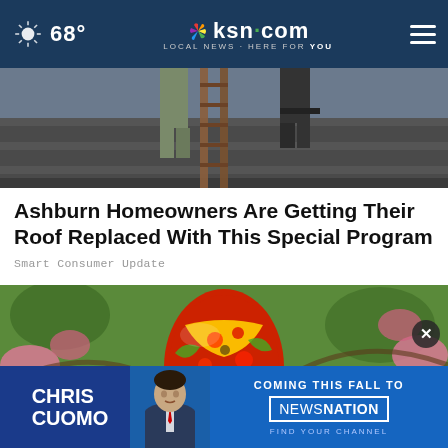68° | ksn.com LOCAL NEWS · HERE FOR YOU
[Figure (photo): Workers on a rooftop, photo showing legs and roof shingles]
Ashburn Homeowners Are Getting Their Roof Replaced With This Special Program
Smart Consumer Update
[Figure (photo): Colorful decorative glass Easter egg hanging among spring blossoms]
[Figure (infographic): Advertisement banner: CHRIS CUOMO - COMING THIS FALL TO NEWSNATION - FIND YOUR CHANNEL]